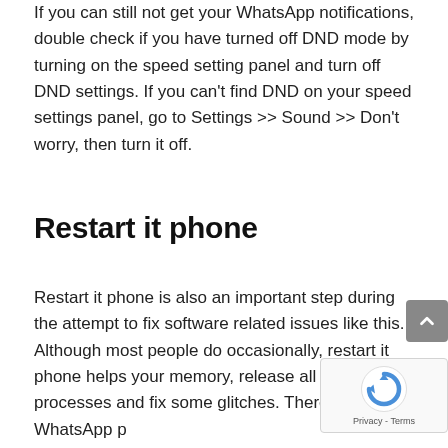If you can still not get your WhatsApp notifications, double check if you have turned off DND mode by turning on the speed setting panel and turn off DND settings. If you can't find DND on your speed settings panel, go to Settings >> Sound >> Don't worry, then turn it off.
Restart it phone
Restart it phone is also an important step during the attempt to fix software related issues like this. Although most people do occasionally, restart it phone helps your memory, release all the processes and fix some glitches. Therefore, if WhatsApp push notifications do not work on it phone, simply re it phone and try again. Just hold that power bu